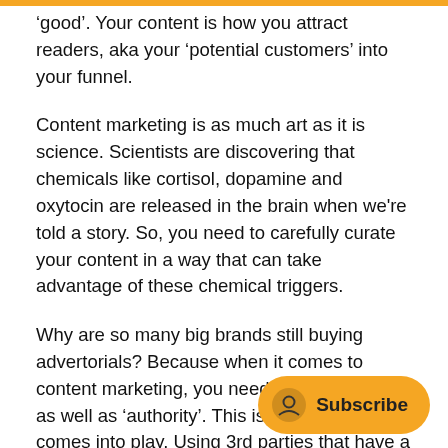'good'. Your content is how you attract readers, aka your 'potential customers' into your funnel.
Content marketing is as much art as it is science. Scientists are discovering that chemicals like cortisol, dopamine and oxytocin are released in the brain when we're told a story. So, you need to carefully curate your content in a way that can take advantage of these chemical triggers.
Why are so many big brands still buying advertorials? Because when it comes to content marketing, you need an 'audience', as well as 'authority'. This is where media comes into play. Using 3rd parties that have a degre... write and publish content about yo... more credibility than just you posting on your own